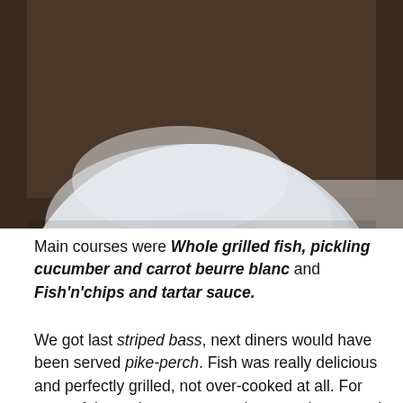[Figure (photo): A large white ceramic plate photographed from above against a dark wooden table background. Only the upper portion of the plate is visible, showing its wide rim and shallow bowl center with subtle shadows.]
Main courses were Whole grilled fish, pickling cucumber and carrot beurre blanc and Fish'n'chips and tartar sauce.
We got last striped bass, next diners would have been served pike-perch. Fish was really delicious and perfectly grilled, not over-cooked at all. For most of the main courses you have to choose and pay extra for side dishes, for striped bass we chose new potatoes with dill butter. If